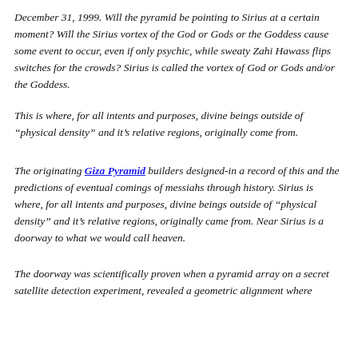December 31, 1999. Will the pyramid be pointing to Sirius at a certain moment? Will the Sirius vortex of the God or Gods or the Goddess cause some event to occur, even if only psychic, while sweaty Zahi Hawass flips switches for the crowds? Sirius is called the vortex of God or Gods and/or the Goddess.
This is where, for all intents and purposes, divine beings outside of "physical density" and it's relative regions, originally come from.
The originating Giza Pyramid builders designed-in a record of this and the predictions of eventual comings of messiahs through history. Sirius is where, for all intents and purposes, divine beings outside of "physical density" and it's relative regions, originally came from. Near Sirius is a doorway to what we would call heaven.
The doorway was scientifically proven when a pyramid array on a secret satellite detection experiment, revealed a geometric alignment where...